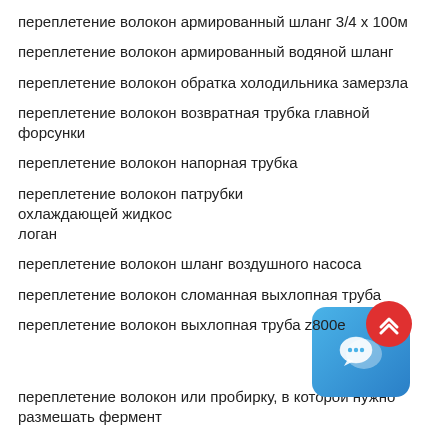переплетение волокон армированный шланг 3/4 х 100м
переплетение волокон армированный водяной шланг
переплетение волокон обратка холодильника замерзла
переплетение волокон возвратная трубка главной форсунки
переплетение волокон напорная трубка
переплетение волокон патрубки охлаждающей жидкос логан
переплетение волокон шланг воздушного насоса
переплетение волокон сломанная выхлопная труба
переплетение волокон выхлопная труба z800e
переплетение волокон или пробирку, в которой нужно размешать фермент
[Figure (illustration): Chat application widget icon - blue rounded square with chat bubble icon and close button]
[Figure (illustration): Red circular scroll-to-top button with double chevron up arrow]